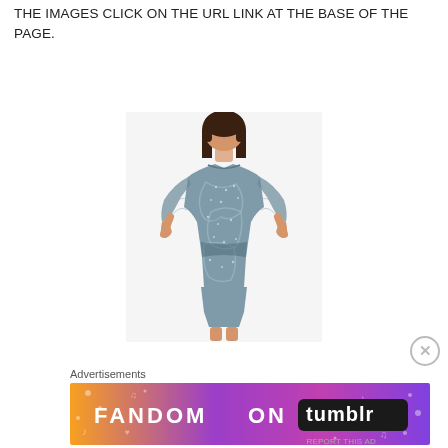THE IMAGES CLICK ON THE URL LINK AT THE BASE OF THE PAGE.
[Figure (photo): A woman wearing a short sparkly beaded mesh long-sleeve mini dress in steel blue/grey color, photographed from shoulders to thigh level against a white background.]
Advertisements
[Figure (screenshot): Tumblr advertisement banner reading 'FANDOM ON tumblr' with colorful gradient background of orange, purple and pink with decorative music notes, hearts and other icons.]